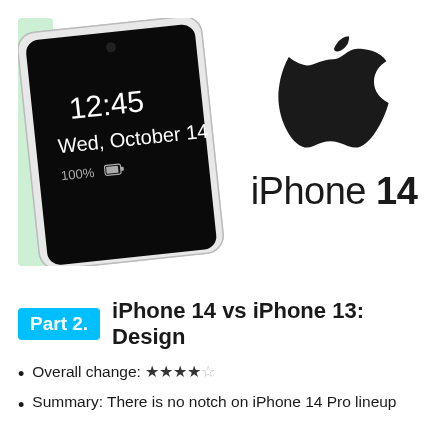[Figure (photo): Left: A smartphone with a black screen showing 12:45, Wed, October 14, 100% battery. The phone has a punch-hole front camera. Right: Apple logo (black apple with leaf) above the text 'iPhone 14' in bold/regular mix.]
Part 2. iPhone 14 vs iPhone 13: Design
Overall change: ★★★★☆
Summary: There is no notch on iPhone 14 Pro lineup